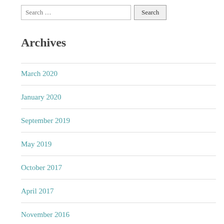Search …
Archives
March 2020
January 2020
September 2019
May 2019
October 2017
April 2017
November 2016
September 2016